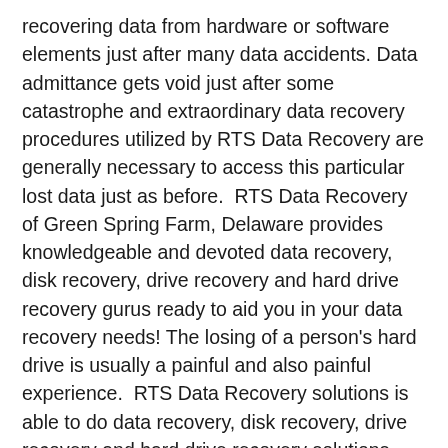recovering data from hardware or software elements just after many data accidents. Data admittance gets void just after some catastrophe and extraordinary data recovery procedures utilized by RTS Data Recovery are generally necessary to access this particular lost data just as before.  RTS Data Recovery of Green Spring Farm, Delaware provides knowledgeable and devoted data recovery, disk recovery, drive recovery and hard drive recovery gurus ready to aid you in your data recovery needs! The losing of a person's hard drive is usually a painful and also painful experience.  RTS Data Recovery solutions is able to do data recovery, disk recovery, drive recovery and hard drive recovery solutions that can recover irreplaceable computer files such as family images, tax and money details, work tasks or inventive writing data files.  Do not let your own memories change into just that – memories, telephone call RTS Data Recovery solutions of Green Spring Farm, Delaware today to start out!